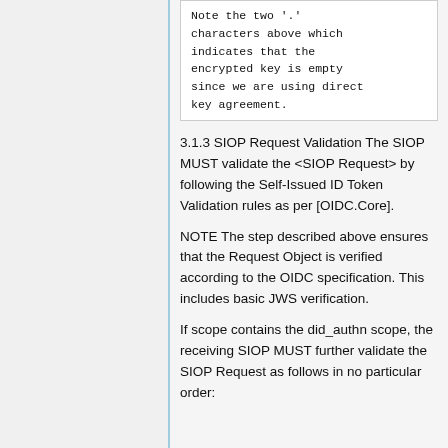Note the two '.' characters above which indicates that the encrypted key is empty since we are using direct key agreement.
3.1.3 SIOP Request Validation The SIOP MUST validate the <SIOP Request> by following the Self-Issued ID Token Validation rules as per [OIDC.Core].
NOTE The step described above ensures that the Request Object is verified according to the OIDC specification. This includes basic JWS verification.
If scope contains the did_authn scope, the receiving SIOP MUST further validate the SIOP Request as follows in no particular order: